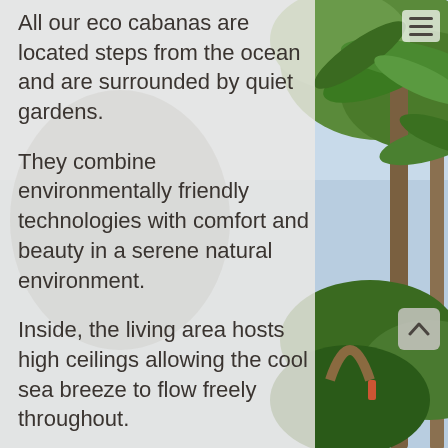[Figure (photo): Tropical beach scene with palm trees, lush green foliage, and blue sky visible on the right side of the page. A semi-transparent light grey/white overlay panel covers the left portion of the image.]
All our eco cabanas are located steps from the ocean and are surrounded by quiet gardens.
They combine environmentally friendly technologies with comfort and beauty in a serene natural environment.
Inside, the living area hosts high ceilings allowing the cool sea breeze to flow freely throughout.
The Bedro... with